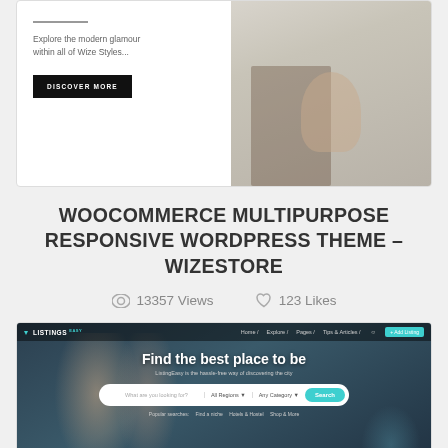[Figure (screenshot): Screenshot of a WooCommerce/fashion theme showing a dark horizontal line, text 'Explore the modern glamour within all of Wize Styles...' and a DISCOVER MORE button, with a woman sitting on a chair on the right side]
WOOCOMMERCE MULTIPURPOSE RESPONSIVE WORDPRESS THEME – WIZESTORE
13357 Views   123 Likes
[Figure (screenshot): Screenshot of ListingEasy WordPress theme showing a couple looking at a phone, navigation bar with logo and menu items, hero section with text 'Find the best place to be', 'ListingEasy is the hassle-free way of discovering the city', search bar with 'What are you looking for?', 'All Regions', 'Any Category' dropdowns and a Search button, popular searches below]